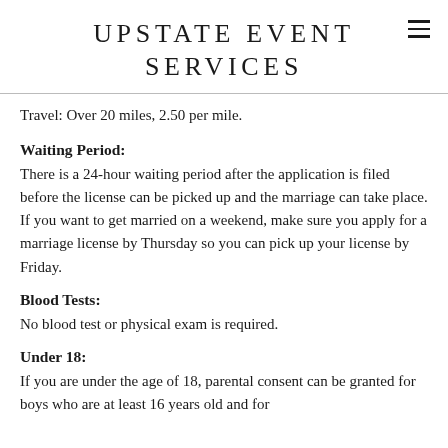UPSTATE EVENT SERVICES
Travel: Over 20 miles, 2.50 per mile.
Waiting Period:
There is a 24-hour waiting period after the application is filed before the license can be picked up and the marriage can take place. If you want to get married on a weekend, make sure you apply for a marriage license by Thursday so you can pick up your license by Friday.
Blood Tests:
No blood test or physical exam is required.
Under 18:
If you are under the age of 18, parental consent can be granted for boys who are at least 16 years old and for